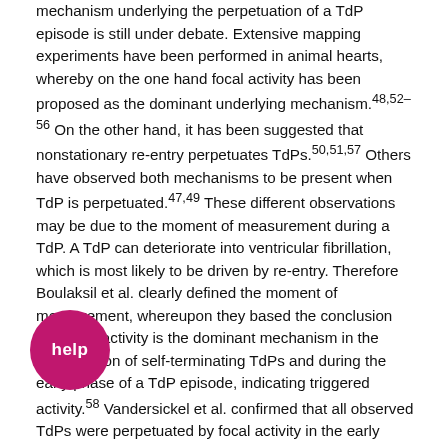mechanism underlying the perpetuation of a TdP episode is still under debate. Extensive mapping experiments have been performed in animal hearts, whereby on the one hand focal activity has been proposed as the dominant underlying mechanism.48,52–56 On the other hand, it has been suggested that nonstationary re-entry perpetuates TdPs.50,51,57 Others have observed both mechanisms to be present when TdP is perpetuated.47,49 These different observations may be due to the moment of measurement during a TdP. A TdP can deteriorate into ventricular fibrillation, which is most likely to be driven by re-entry. Therefore Boulaksil et al. clearly defined the moment of measurement, whereupon they based the conclusion that focal activity is the dominant mechanism in the perpetuation of self-terminating TdPs and during the early phase of a TdP episode, indicating triggered activity.58 Vandersickel et al. confirmed that all observed TdPs were perpetuated by focal activity in the early phase and in the case of short-lasting TdPs, but added that the longer-lasting TdP episodes were re-entry driven.59

It is important to note that the STV measured by the
[Figure (other): Pink/magenta circular badge with white text 'help' overlaid on the bottom-left area of the page]